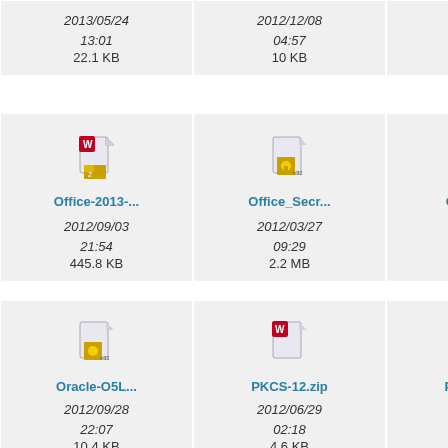[Figure (screenshot): File browser grid showing file icons with names, dates, and sizes. Row 1 (partial, top): three file entries showing dates 2013/05/24 13:01 22.1 KB, 2012/12/08 04:57 10 KB, 2012/03/2x 07:08 14.2 KB. Row 2: Office-2013-... (2012/09/03 21:54 445.8 KB), Office_Secr... (2012/03/27 09:29 2.2 MB), Oracle-Capt... (2012/10/0x 22:59 382.9 KB). Row 3: Oracle-O5L... (2012/09/28 22:07 10.4 KB), PKCS-12.zip (2012/06/29 02:18 4.6 KB), Password-G... (2012/07/1x 23:58 482 B).]